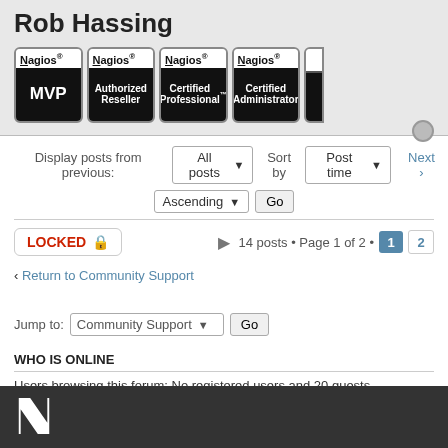Rob Hassing
[Figure (logo): Four Nagios certification badges: MVP, Authorized Reseller, Certified Professional, Certified Administrator (partially cut off)]
Display posts from previous: All posts ▼  Sort by Post time ▼  Next ▶
Ascending ▼  Go
LOCKED 🔒   14 posts • Page 1 of 2 •  1  2
‹ Return to Community Support   Jump to: Community Support ▼  Go
WHO IS ONLINE
Users browsing this forum: No registered users and 20 guests
[Figure (logo): Nagios white N logo on dark footer bar]